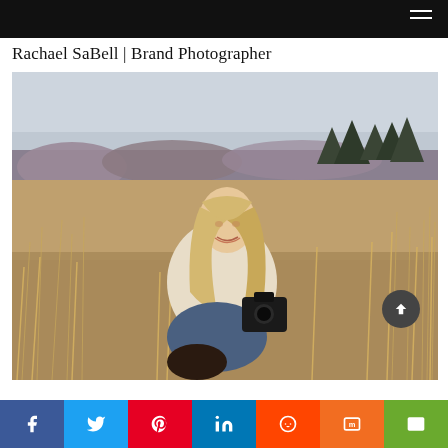Navigation bar with hamburger menu
Rachael SaBell | Brand Photographer
[Figure (photo): A young woman with long blonde hair sitting in a dry grass field holding a camera, wearing a cream knit sweater and jeans. Background shows dry golden grass stalks, purple-grey brush, and dark pine trees under an overcast sky. Outdoor brand photography portrait.]
Social share buttons: Facebook, Twitter, Pinterest, LinkedIn, Reddit, Mix, Email